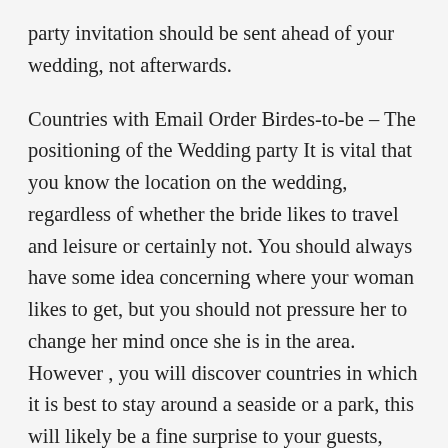party invitation should be sent ahead of your wedding, not afterwards.
Countries with Email Order Birdes-to-be – The positioning of the Wedding party It is vital that you know the location on the wedding, regardless of whether the bride likes to travel and leisure or certainly not. You should always have some idea concerning where your woman likes to get, but you should not pressure her to change her mind once she is in the area. However , you will discover countries in which it is best to stay around a seaside or a park, this will likely be a fine surprise to your guests, specifically if you live near a seaside. Some of the places that you may like to visit are the Caves, the Gulf of Islands, Mount Kenya